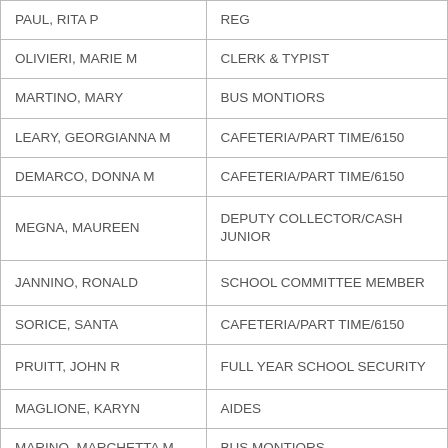| Name | Role |
| --- | --- |
| PAUL, RITA P | REG |
| OLIVIERI, MARIE M | CLERK & TYPIST |
| MARTINO, MARY | BUS MONTIORS |
| LEARY, GEORGIANNA M | CAFETERIA/PART TIME/6150 |
| DEMARCO, DONNA M | CAFETERIA/PART TIME/6150 |
| MEGNA, MAUREEN | DEPUTY COLLECTOR/CASH JUNIOR |
| JANNINO, RONALD | SCHOOL COMMITTEE MEMBER |
| SORICE, SANTA | CAFETERIA/PART TIME/6150 |
| PRUITT, JOHN R | FULL YEAR SCHOOL SECURITY |
| MAGLIONE, KARYN | AIDES |
| MARINO, MARCHETTA M | BUS MONTIORS |